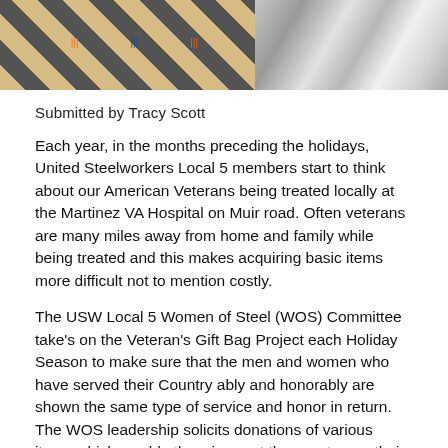[Figure (photo): Photo showing boxes of colorful items (pens/markers) and piles of white/dark items, likely toiletries or socks, for veteran gift bags.]
Submitted by Tracy Scott
Each year, in the months preceding the holidays, United Steelworkers Local 5 members start to think about our American Veterans being treated locally at the Martinez VA Hospital on Muir road. Often veterans are many miles away from home and family while being treated and this makes acquiring basic items more difficult not to mention costly.
The USW Local 5 Women of Steel (WOS) Committee take's on the Veteran's Gift Bag Project each Holiday Season to make sure that the men and women who have served their Country ably and honorably are shown the same type of service and honor in return. The WOS leadership solicits donations of various items which would otherwise cost these veterans their precious resources in order to have basic need type items like toiletries and other essentials.
Our goal each year is guided by the input of the wonderful staff of the VA hospital and they let us know how many Veterans we will be receiving the gift bags this Holiday Season this year we